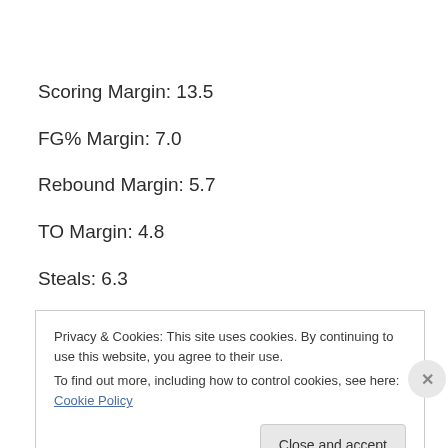Scoring Margin: 13.5
FG% Margin: 7.0
Rebound Margin: 5.7
TO Margin: 4.8
Steals: 6.3
Privacy & Cookies: This site uses cookies. By continuing to use this website, you agree to their use.
To find out more, including how to control cookies, see here: Cookie Policy